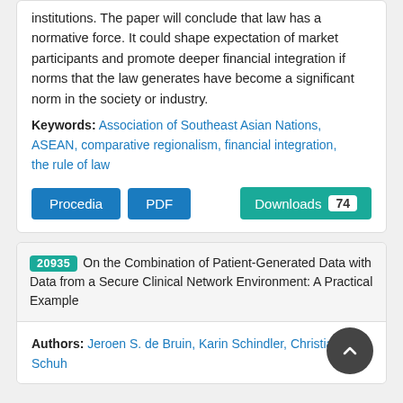institutions. The paper will conclude that law has a normative force. It could shape expectation of market participants and promote deeper financial integration if norms that the law generates have become a significant norm in the society or industry.
Keywords: Association of Southeast Asian Nations, ASEAN, comparative regionalism, financial integration, the rule of law
Procedia  PDF  Downloads 74
20935 On the Combination of Patient-Generated Data with Data from a Secure Clinical Network Environment: A Practical Example
Authors: Jeroen S. de Bruin, Karin Schindler, Christian Schuh